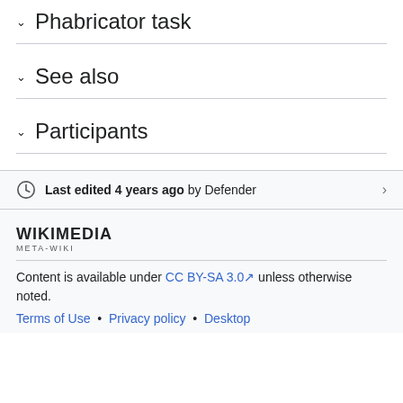Phabricator task
See also
Participants
Last edited 4 years ago by Defender
[Figure (logo): Wikimedia Meta-Wiki logo]
Content is available under CC BY-SA 3.0 unless otherwise noted.
Terms of Use • Privacy policy • Desktop